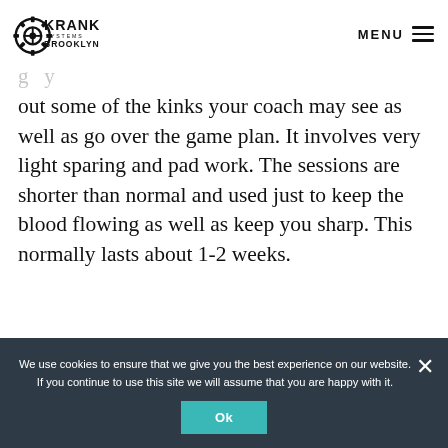Krank Systems Brooklyn
out some of the kinks your coach may see as well as go over the game plan. It involves very light sparing and pad work. The sessions are shorter than normal and used just to keep the blood flowing as well as keep you sharp. This normally lasts about 1-2 weeks.
We use cookies to ensure that we give you the best experience on our website. If you continue to use this site we will assume that you are happy with it.